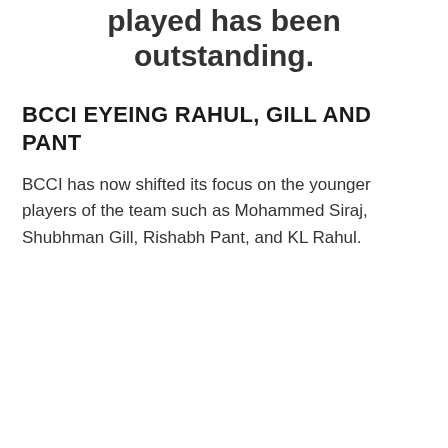played has been outstanding.
BCCI EYEING RAHUL, GILL AND PANT
BCCI has now shifted its focus on the younger players of the team such as Mohammed Siraj, Shubhman Gill, Rishabh Pant, and KL Rahul.